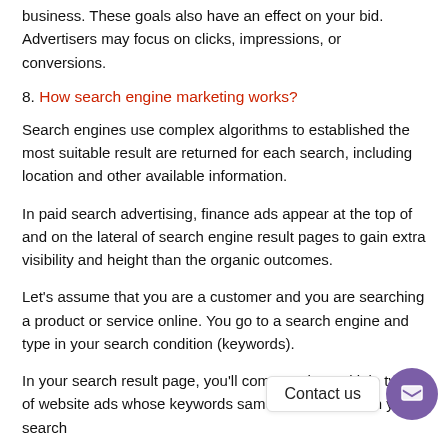business. These goals also have an effect on your bid. Advertisers may focus on clicks, impressions, or conversions.
8. How search engine marketing works?
Search engines use complex algorithms to established the most suitable result are returned for each search, including location and other available information.
In paid search advertising, finance ads appear at the top of and on the lateral of search engine result pages to gain extra visibility and height than the organic outcomes.
Let's assume that you are a customer and you are searching a product or service online. You go to a search engine and type in your search condition (keywords).
In your search result page, you'll come on the multiple types of website ads whose keywords same the keywords in your search